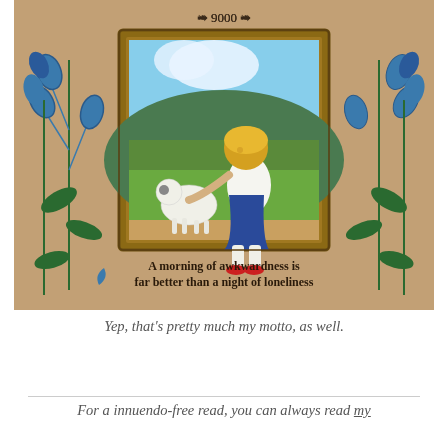[Figure (illustration): Vintage illustration on aged tan/brown background showing a framed picture of a young blonde child in a white shirt and blue skirt with white knee socks petting a white lamb in a green field. Blue bellflowers decorate both sides. At the top center is '❧ 9000 ❧' and at the bottom of the image is text: 'A morning of awkwardness is far better than a night of loneliness']
Yep, that's pretty much my motto, as well.
For a innuendo-free read, you can always read my